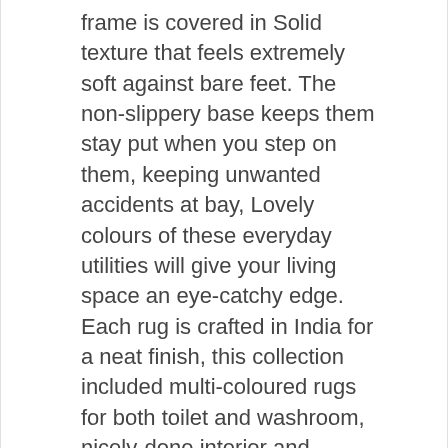frame is covered in Solid texture that feels extremely soft against bare feet. The non-slippery base keeps them stay put when you step on them, keeping unwanted accidents at bay, Lovely colours of these everyday utilities will give your living space an eye-catchy edge. Each rug is crafted in India for a neat finish, this collection included multi-coloured rugs for both toilet and washroom, nicely-done interior and functionality. Enhance your bathroom s look with the Hampton Collection bath rug. This soft and durable rug is made with 100% cotton fabric. It lasts long and provides underfoot comfort. Offering excellent absorbency, it keeps your floor and feet dry when you step out of the shower, The rug is available in 6 different